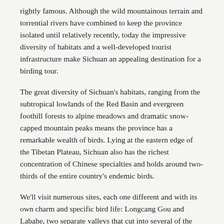rightly famous. Although the wild mountainous terrain and torrential rivers have combined to keep the province isolated until relatively recently, today the impressive diversity of habitats and a well-developed tourist infrastructure make Sichuan an appealing destination for a birding tour.
The great diversity of Sichuan's habitats, ranging from the subtropical lowlands of the Red Basin and evergreen foothill forests to alpine meadows and dramatic snow-capped mountain peaks means the province has a remarkable wealth of birds. Lying at the eastern edge of the Tibetan Plateau, Sichuan also has the richest concentration of Chinese specialties and holds around two-thirds of the entire country's endemic birds.
We'll visit numerous sites, each one different and with its own charm and specific bird life: Longcang Gou and Labahe, two separate valleys that cut into several of the mighty peaks that rise abruptly on the western fringe of the Red Basin; the town of Luding which we'll use as a base from which to explore a different set of mountains; Siguniangshan and neighboring Wolong National Park, the latter famed as one of the homes for China's few remaining Giant Pandas but also renowned as a haven for a large number of spectacular birds; the rolling grasslands at the extreme eastern edge